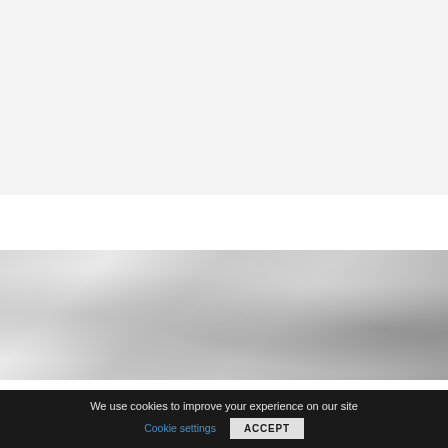[Figure (photo): Gray-toned blurred background image, possibly depicting a misty or foggy outdoor scene with soft light and shadow variations]
We use cookies to improve your experience on our site
Cookie settings
ACCEPT